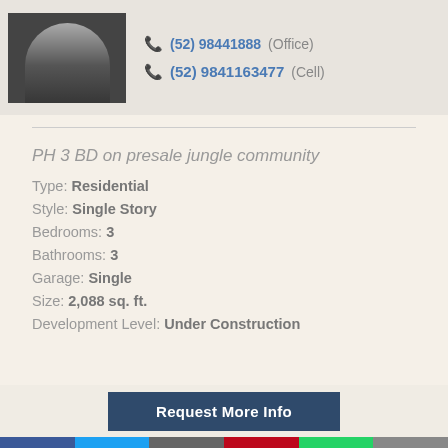(52) 9841163477 (Cell)
PH 3 BD on presale jungle community
Type: Residential
Style: Single Story
Bedrooms: 3
Bathrooms: 3
Garage: Single
Size: 2,088 sq. ft.
Development Level: Under Construction
Request More Info